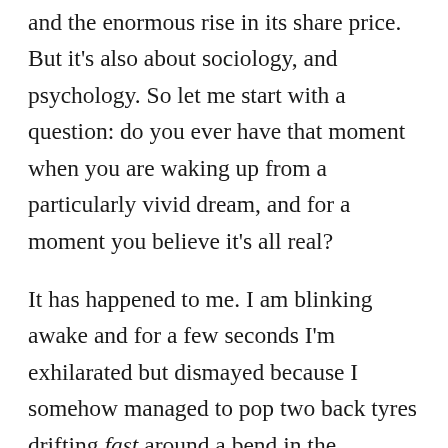and the enormous rise in its share price. But it's also about sociology, and psychology. So let me start with a question: do you ever have that moment when you are waking up from a particularly vivid dream, and for a moment you believe it's all real?
It has happened to me. I am blinking awake and for a few seconds I'm exhilarated but dismayed because I somehow managed to pop two back tyres drifting fast around a bend in the Kimberley on a track that looked halfway between something out of